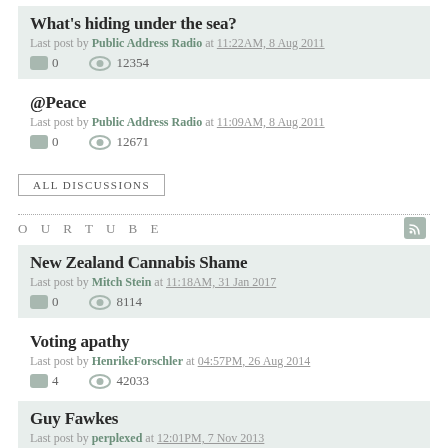What's hiding under the sea?
Last post by Public Address Radio at 11:22AM, 8 Aug 2011
0   12354
@Peace
Last post by Public Address Radio at 11:09AM, 8 Aug 2011
0   12671
ALL DISCUSSIONS
OURTUBE
New Zealand Cannabis Shame
Last post by Mitch Stein at 11:18AM, 31 Jan 2017
0   8114
Voting apathy
Last post by HenrikeForschler at 04:57PM, 26 Aug 2014
4   42033
Guy Fawkes
Last post by perplexed at 12:01PM, 7 Nov 2013
3   35844